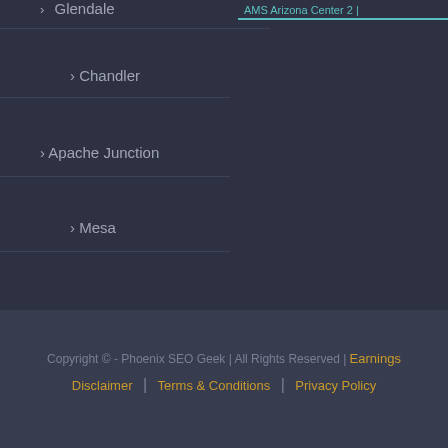> Glendale
> Chandler
> Apache Junction
> Mesa
Copyright © - Phoenix SEO Geek | All Rights Reserved | Earnings Disclaimer | Terms & Conditions | Privacy Policy